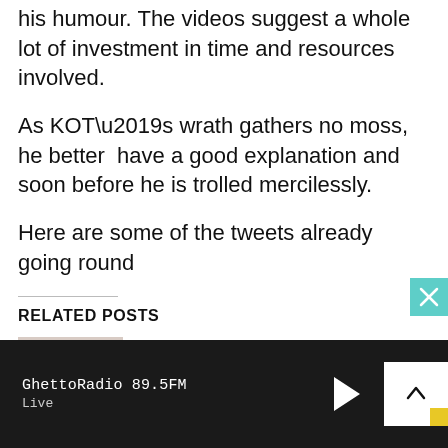his humour. The videos suggest a whole lot of investment in time and resources involved.
As KOT’s wrath gathers no moss, he better have a good explanation and soon before he is trolled mercilessly.
Here are some of the tweets already going round
RELATED POSTS
[Figure (photo): Photo of Ayra Starr with red braided hair and a dark turtleneck top]
Ayra Starr Releases New Song With Skip Marley
GhettoRadio 89.5FM
Live